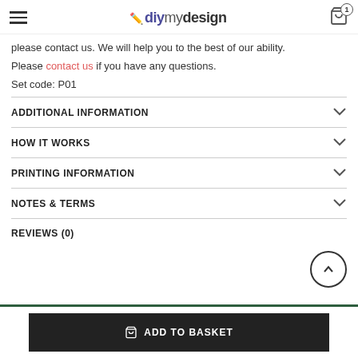diymydesign
please contact us. We will help you to the best of our ability.
Please contact us if you have any questions.
Set code: P01
ADDITIONAL INFORMATION
HOW IT WORKS
PRINTING INFORMATION
NOTES & TERMS
REVIEWS (0)